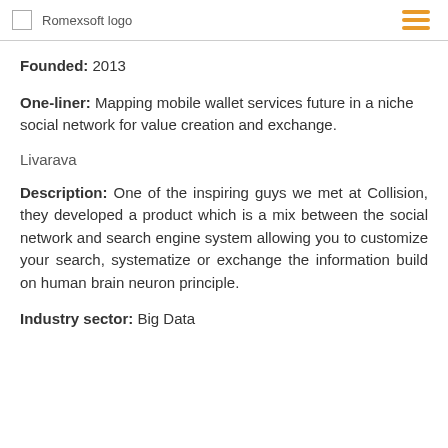Romexsoft logo
Founded: 2013
One-liner: Mapping mobile wallet services future in a niche social network for value creation and exchange.
Livarava
Description: One of the inspiring guys we met at Collision, they developed a product which is a mix between the social network and search engine system allowing you to customize your search, systematize or exchange the information build on human brain neuron principle.
Industry sector: Big Data